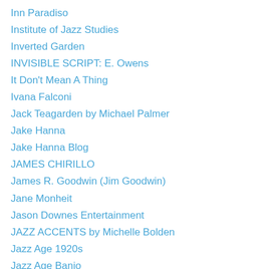Inn Paradiso
Institute of Jazz Studies
Inverted Garden
INVISIBLE SCRIPT: E. Owens
It Don't Mean A Thing
Ivana Falconi
Jack Teagarden by Michael Palmer
Jake Hanna
Jake Hanna Blog
JAMES CHIRILLO
James R. Goodwin (Jim Goodwin)
Jane Monheit
Jason Downes Entertainment
JAZZ ACCENTS by Michelle Bolden
Jazz Age 1920s
Jazz Age Banjo
Jazz Archeology (Jan Evensmo)
Jazz at Noon
Jazz Beyond Jazz
Jazz Collector